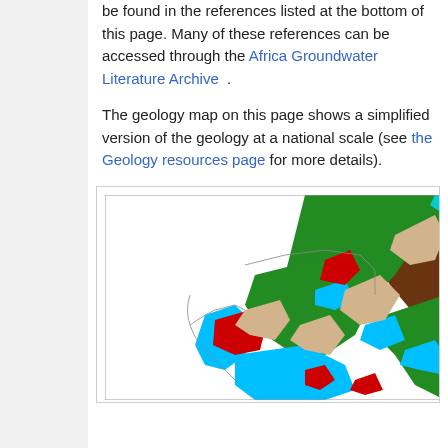be found in the references listed at the bottom of this page. Many of these references can be accessed through the Africa Groundwater Literature Archive .
The geology map on this page shows a simplified version of the geology at a national scale (see the Geology resources page for more details).
[Figure (map): Partial geology map showing colored regions representing different geological formations, with colors including green, brown, cyan/blue, red, and white areas, representing a national-scale geology map.]